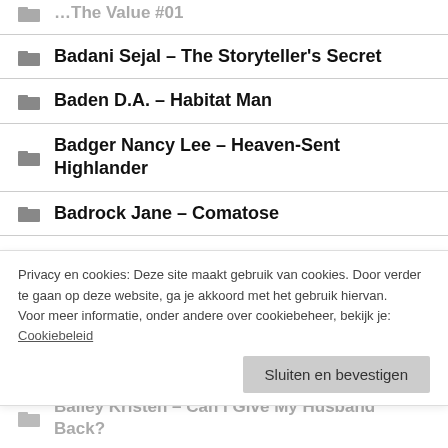Badani Sejal – The Storyteller's Secret
Baden D.A. – Habitat Man
Badger Nancy Lee – Heaven-Sent Highlander
Badrock Jane – Comatose
Badrock Jane – The Ice Maiden
Badrock Jane – The Woman Who Knew Faces
Privacy en cookies: Deze site maakt gebruik van cookies. Door verder te gaan op deze website, ga je akkoord met het gebruik hiervan. Voor meer informatie, onder andere over cookiebeheer, bekijk je: Cookiebeleid
Bailey Kristen – Can I Give My Husband Back?